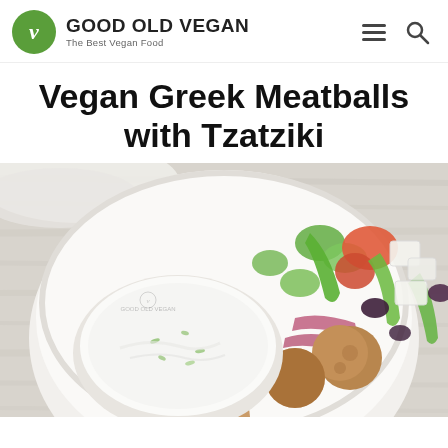GOOD OLD VEGAN — The Best Vegan Food
Vegan Greek Meatballs with Tzatziki
[Figure (photo): Overhead view of a white bowl containing vegan Greek meatballs with tzatziki sauce in a small white bowl, alongside a Greek salad with tomatoes, cucumbers, green peppers, red onions, olives, and feta-style cheese cubes. The bowl sits on a white wooden surface with a white cloth napkin. A small Good Old Vegan watermark is visible.]